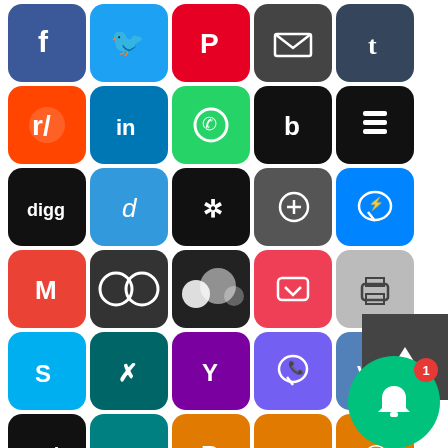[Figure (illustration): Grid of social media sharing icons including Facebook, Twitter, Pinterest, Email, Tumblr, Reddit, LinkedIn, WhatsApp, Blogger, Buffer, Digg, Delicious, StumbleUpon, Instapaper, Messenger, Gmail, Blog, MySpace, Pocket, Print, Skype, Xing, Yahoo, Viber, VK, AOL, Medium/MW, Parking/PocketApp, Yummly, @Mail, and a plus/more button]
Interview with Pierre Coombes MD Of Big Wolf Marketing Ltd
Leave a Reply
Your email address will not be published. Required fields are marked *
Comment *